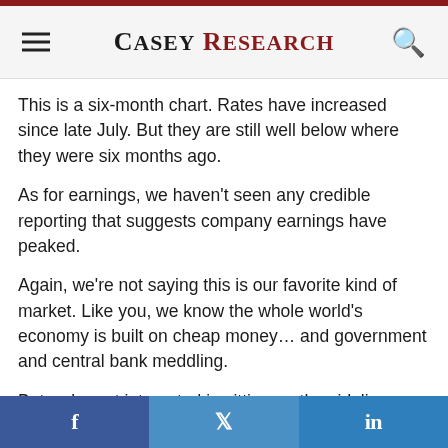Casey Research
This is a six-month chart. Rates have increased since late July. But they are still well below where they were six months ago.
As for earnings, we haven’t seen any credible reporting that suggests company earnings have peaked.
Again, we’re not saying this is our favorite kind of market. Like you, we know the whole world’s economy is built on cheap money… and government and central bank meddling.
But we’re not interested in sitting on the sidelines yapping. Our goal is to help you make the most of the market we have. If you have an objection to investing in
f  •  🐦  •  in